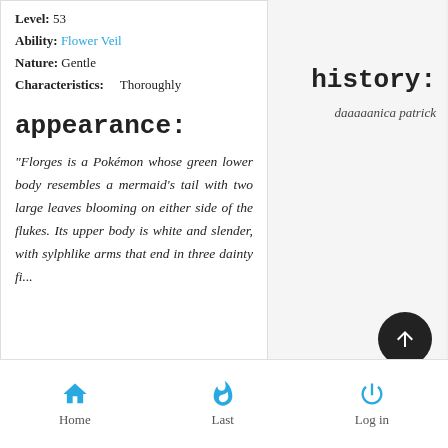Level: 53
Ability: Flower Veil
Nature: Gentle
Characteristics: Thoroughly
appearance:
"Florges is a Pokémon whose green lower body resembles a mermaid's tail with two large leaves blooming on either side of the flukes. Its upper body is white and slender, with sylphlike arms that end in three dainty fi...
history:
daaaaanica patrick
Home   Last   Log in